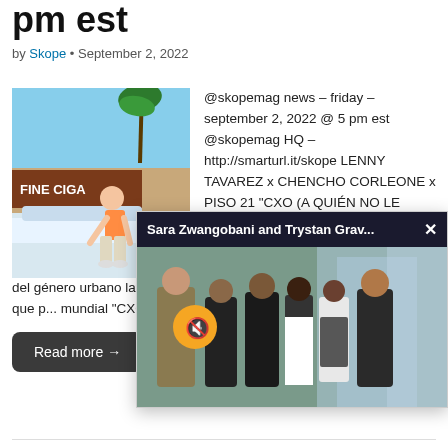pm est
by Skope • September 2, 2022
[Figure (photo): Person leaning out of a white convertible car in front of a sign reading FINE CIGAR, palm trees in background, wearing orange top and light pants]
@skopemag news – friday – september 2, 2022 @ 5 pm est @skopemag HQ – http://smarturl.it/skope LENNY TAVAREZ x CHENCHO CORLEONE x PISO 21 "CXO (A QUIÉN NO LE GUSTA)" Uno de los artistas más codiciados
del género urbano latino, Lenny Tavarez, lanza hoy su nuevo sencillo que p... mundial "CXO...
Read more →
[Figure (screenshot): Video popup overlay with header 'Sara Zwangobani and Trystan Grav...' with close button, showing a group of people in formal attire standing together, with a muted video icon overlay]